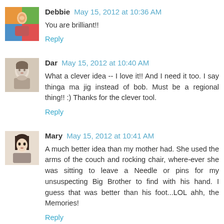[Figure (photo): Avatar image of Debbie, colorful illustrated style]
Debbie May 15, 2012 at 10:36 AM
You are brilliant!!
Reply
[Figure (photo): Avatar image of Dar, vintage black and white photo of a child]
Dar May 15, 2012 at 10:40 AM
What a clever idea -- I love it!! And I need it too. I say thinga ma jig instead of bob. Must be a regional thing!! :) Thanks for the clever tool.
Reply
[Figure (photo): Avatar image of Mary, woman with dark hair]
Mary May 15, 2012 at 10:41 AM
A much better idea than my mother had. She used the arms of the couch and rocking chair, where-ever she was sitting to leave a Needle or pins for my unsuspecting Big Brother to find with his hand. I guess that was better than his foot...LOL ahh, the Memories!
Reply